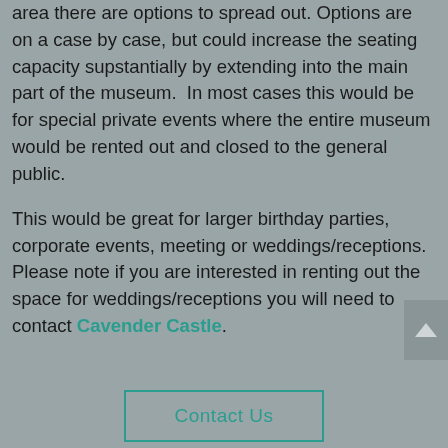area there are options to spread out. Options are on a case by case, but could increase the seating capacity supstantially by extending into the main part of the museum.  In most cases this would be for special private events where the entire museum would be rented out and closed to the general public.
This would be great for larger birthday parties, corporate events, meeting or weddings/receptions. Please note if you are interested in renting out the space for weddings/receptions you will need to contact Cavender Castle.